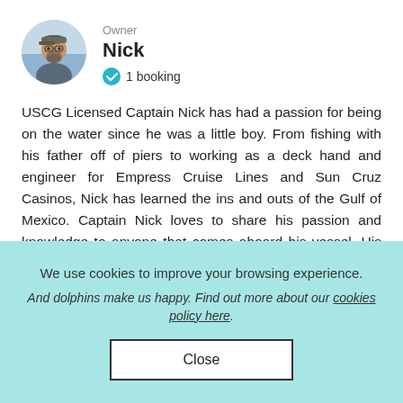[Figure (photo): Circular profile photo of Captain Nick, a bearded man wearing a cap, outdoors near water]
Owner
Nick
1 booking
USCG Licensed Captain Nick has had a passion for being on the water since he was a little boy. From fishing with his father off of piers to working as a deck hand and engineer for Empress Cruise Lines and Sun Cruz Casinos, Nick has learned the ins and outs of the Gulf of Mexico. Captain Nick loves to share his passion and knowledge to anyone that comes aboard his vessel. His goal is to make sure everyone has a memorable experience that will last a lifetime with stories to tell.
We use cookies to improve your browsing experience.
And dolphins make us happy. Find out more about our cookies policy here.
Close